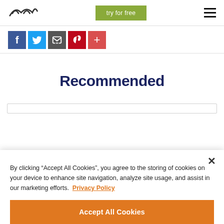Logo | try for free | menu
[Figure (screenshot): Social share icons: Facebook (blue), Twitter (light blue), Email/notification (dark gray), Pinterest (red), Plus/more (red-pink)]
Recommended
By clicking “Accept All Cookies”, you agree to the storing of cookies on your device to enhance site navigation, analyze site usage, and assist in our marketing efforts.  Privacy Policy
Accept All Cookies